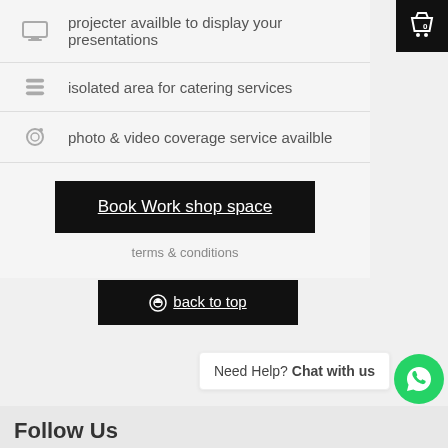projecter availble to display your presentations
isolated area for catering services
photo & video coverage service availble
Book Work shop space
terms & conditions
⊕ back to top
Need Help? Chat with us
Follow Us